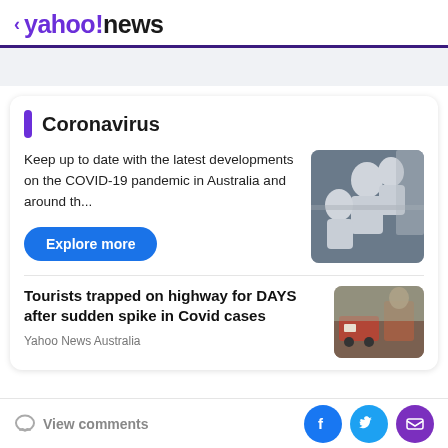< yahoo!news
Coronavirus
Keep up to date with the latest developments on the COVID-19 pandemic in Australia and around th...
[Figure (photo): People in white hazmat suits and gas masks standing near a vehicle]
Tourists trapped on highway for DAYS after sudden spike in Covid cases
Yahoo News Australia
[Figure (photo): People with bags and luggage on a street or highway scene]
View comments